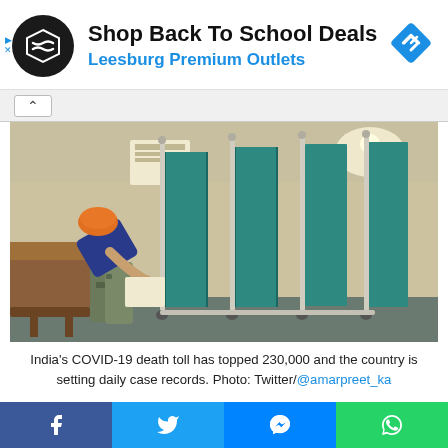[Figure (other): Advertisement banner: Shop Back To School Deals - Leesburg Premium Outlets]
[Figure (photo): A person in camouflage pants and orange turban bending over a hospital bed in a room with teal privacy curtain dividers on wheeled metal frames. India COVID-19 related photo.]
India's COVID-19 death toll has topped 230,000 and the country is setting daily case records. Photo: Twitter/@amarpreet_ka
[Figure (other): Social media share buttons: Facebook, Twitter, Messenger, WhatsApp]